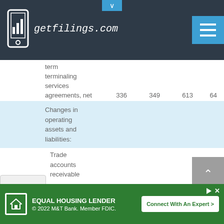getfilings.com
| term |  |  |  |  |
| terminaling |  |  |  |  |
| services |  |  |  |  |
| agreements, net | 336 | 349 | 613 | 64 |
| Changes in operating assets and liabilities: |  |  |  |  |
| Trade accounts receivable |  |  |  |  |
EQUAL HOUSING LENDER © 2022 M&T Bank. Member FDIC. Connect With An Expert >